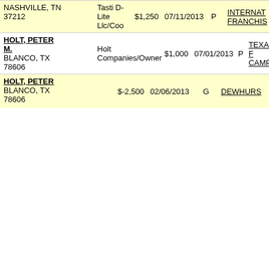| Name/Address | Employer/Occupation | Amount | Date | Type | Recipient |
| --- | --- | --- | --- | --- | --- |
| NASHVILLE, TN
37212 | Tasti D-Lite Llc/Coo | $1,250 | 07/11/2013 | P | INTERNAT FRANCHIS |
| HOLT, PETER M.
BLANCO, TX
78606 | Holt Companies/Owner | $1,000 | 07/01/2013 | P | TEXANS F CAMPAIG |
| HOLT, PETER
BLANCO, TX
78606 |  | $-2,500 | 02/06/2013 | G | DEWHURS |